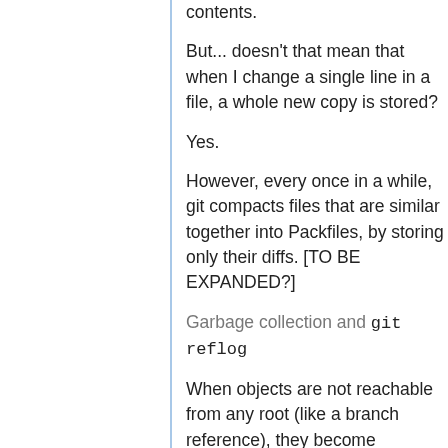contents.
But... doesn't that mean that when I change a single line in a file, a whole new copy is stored?
Yes.
However, every once in a while, git compacts files that are similar together into Packfiles, by storing only their diffs. [TO BE EXPANDED?]
Garbage collection and git reflog
When objects are not reachable from any root (like a branch reference), they become dangling and are subject to garbage collection. However, garbage collection does not kick in immediately.
When making a mistake, it is often helpful to look at commit objects by date